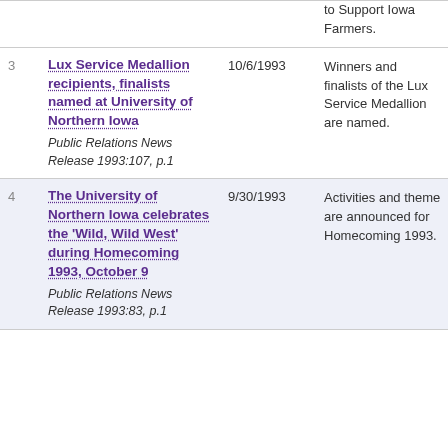| # | Title | Date | Description |
| --- | --- | --- | --- |
|  | to Support Iowa Farmers. |  |  |
| 3 | Lux Service Medallion recipients, finalists named at University of Northern Iowa
Public Relations News Release 1993:107, p.1 | 10/6/1993 | Winners and finalists of the Lux Service Medallion are named. |
| 4 | The University of Northern Iowa celebrates the 'Wild, Wild West' during Homecoming 1993, October 9
Public Relations News Release 1993:83, p.1 | 9/30/1993 | Activities and theme are announced for Homecoming 1993. |